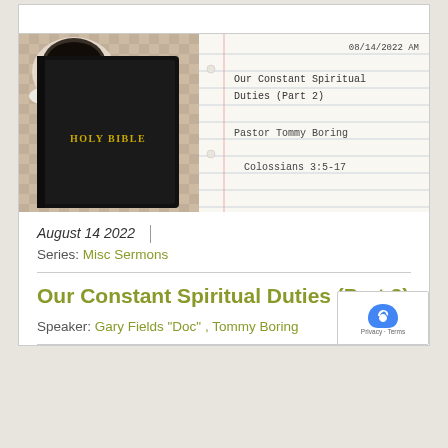[Figure (photo): Photo of a Holy Bible (black cover with gold text) on a checkered tablecloth background next to a coffee cup, with a notepad showing '08/14/2022 AM', 'Our Constant Spiritual Duties (Part 2)', 'Pastor Tommy Boring', 'Colossians 3:5-17']
August 14 2022
Series: Misc Sermons
Our Constant Spiritual Duties (Part 2)
Speaker: Gary Fields "Doc" , Tommy Boring